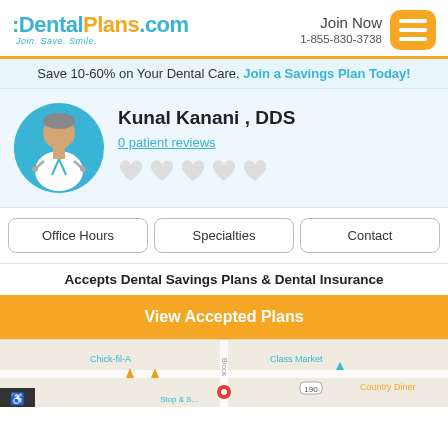DentalPlans.com — Join Now 1-855-830-3738
Save 10-60% on Your Dental Care. Join a Savings Plan Today!
[Figure (illustration): Doctor avatar illustration — circular teal background with a cartoon dentist figure in white coat]
Kunal Kanani , DDS
0 patient reviews
Office Hours
Specialties
Contact
Accepts Dental Savings Plans & Dental Insurance
View Accepted Plans
[Figure (map): Google Maps screenshot showing street map with Chick-fil-A, Brook, Class Market, Country Diner labels and a red location pin]